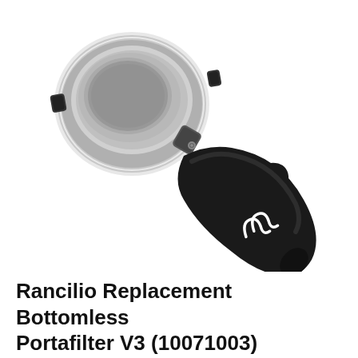[Figure (photo): A Rancilio bottomless portafilter (naked portafilter) with a chrome basket holder and a black ergonomic handle featuring a white Rancilio logo (stylized serpentine symbol). The portafilter is shown at a diagonal angle against a white background.]
Rancilio Replacement Bottomless Portafilter V3 (10071003)